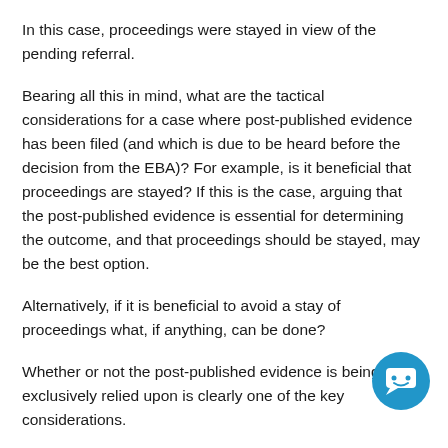In this case, proceedings were stayed in view of the pending referral.
Bearing all this in mind, what are the tactical considerations for a case where post-published evidence has been filed (and which is due to be heard before the decision from the EBA)? For example, is it beneficial that proceedings are stayed? If this is the case, arguing that the post-published evidence is essential for determining the outcome, and that proceedings should be stayed, may be the best option.
Alternatively, if it is beneficial to avoid a stay of proceedings what, if anything, can be done?
Whether or not the post-published evidence is being exclusively relied upon is clearly one of the key considerations.
For example, has the effect already been shown, discussed or alluded to in the patent and is the evidence merely being used to
[Figure (illustration): Blue circular chatbot/support icon with a smiley face speech bubble symbol]